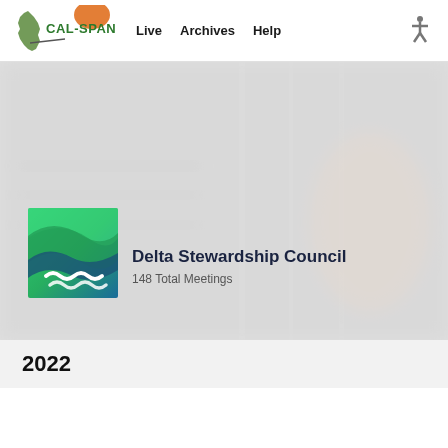CAL-SPAN  Live  Archives  Help
[Figure (screenshot): CAL-SPAN website screenshot showing Delta Stewardship Council organization page with blurred background of a meeting room, organization logo (green and blue wave design), name and total meetings count]
Delta Stewardship Council
148 Total Meetings
2022